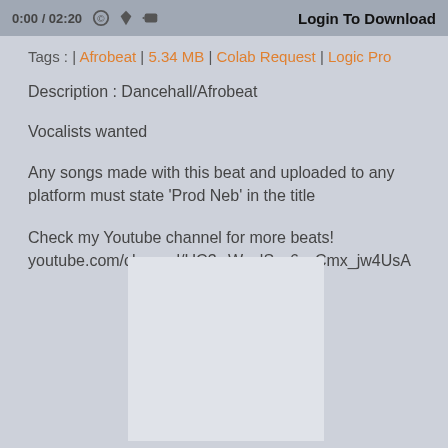0:00 / 02:20  Login To Download
Tags : | Afrobeat | 5.34 MB | Colab Request | Logic Pro
Description : Dancehall/Afrobeat
Vocalists wanted
Any songs made with this beat and uploaded to any platform must state 'Prod Neb' in the title
Check my Youtube channel for more beats!
youtube.com/channel/UC3wWexlSsc6ycCmx_jw4UsA
[Figure (other): Advertisement or embedded content placeholder box]